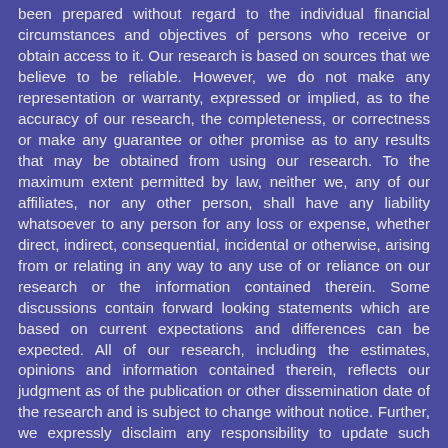been prepared without regard to the individual financial circumstances and objectives of persons who receive or obtain access to it. Our research is based on sources that we believe to be reliable. However, we do not make any representation or warranty, expressed or implied, as to the accuracy of our research, the completeness, or correctness or make any guarantee or other promise as to any results that may be obtained from using our research. To the maximum extent permitted by law, neither we, any of our affiliates, nor any other person, shall have any liability whatsoever to any person for any loss or expense, whether direct, indirect, consequential, incidental or otherwise, arising from or relating in any way to any use of or reliance on our research or the information contained therein. Some discussions contain forward looking statements which are based on current expectations and differences can be expected. All of our research, including the estimates, opinions and information contained therein, reflects our judgment as of the publication or other dissemination date of the research and is subject to change without notice. Further, we expressly disclaim any responsibility to update such research. Investing involves substantial risk. Past performance is not a guarantee of future results, and a loss of original capital may occur. No one receiving or accessing our research should make any investment